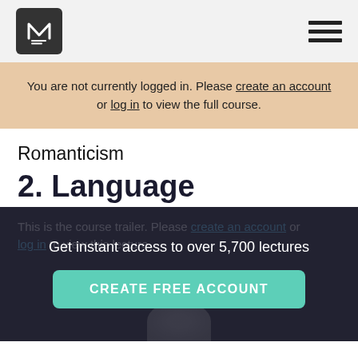M logo and navigation menu
You are not currently logged in. Please create an account or log in to view the full course.
Romanticism
2. Language
This is the course trailer. Please create an account or log in to view this lecture.
Get instant access to over 5,700 lectures
CREATE FREE ACCOUNT